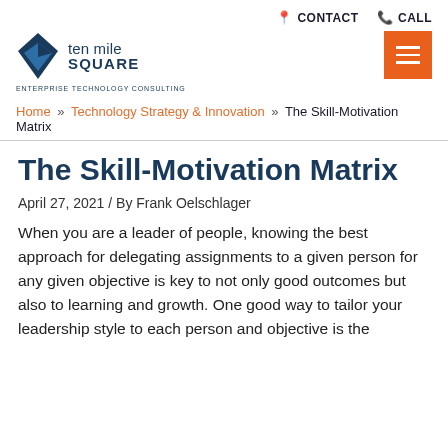CONTACT   CALL
[Figure (logo): Ten Mile Square logo with diamond shape and tagline 'ENTERPRISE TECHNOLOGY CONSULTING']
Home » Technology Strategy & Innovation » The Skill-Motivation Matrix
The Skill-Motivation Matrix
April 27, 2021 / By Frank Oelschlager
When you are a leader of people, knowing the best approach for delegating assignments to a given person for any given objective is key to not only good outcomes but also to learning and growth. One good way to tailor your leadership style to each person and objective is the